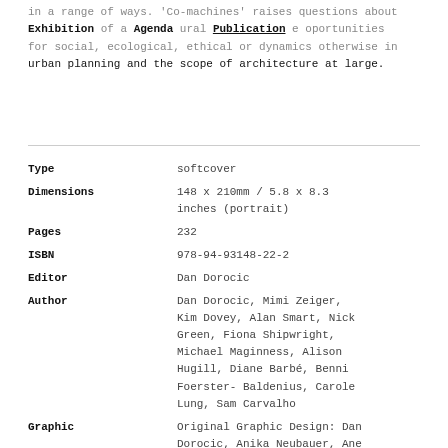in a range of ways. 'Co-machines' raises questions about Exhibition of a cultural Publication opportunities for social, ecological, ethical or dynamics otherwise in urban planning and the scope of architecture at large.
| Field | Value |
| --- | --- |
| Type | softcover |
| Dimensions | 148 x 210mm / 5.8 x 8.3 inches (portrait) |
| Pages | 232 |
| ISBN | 978-94-93148-22-2 |
| Editor | Dan Dorocic |
| Author | Dan Dorocic, Mimi Zeiger, Kim Dovey, Alan Smart, Nick Green, Fiona Shipwright, Michael Maginness, Alison Hugill, Diane Barbé, Benni Foerster- Baldenius, Carole Lung, Sam Carvalho |
| Graphic | Original Graphic Design: Dan Dorocic, Anika Neubauer, Ane Crisan; Graphic Design for this Edition: Wibke Bramesfeld |